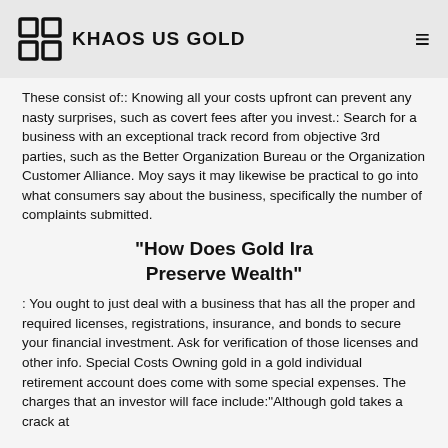KHAOS US GOLD
These consist of:: Knowing all your costs upfront can prevent any nasty surprises, such as covert fees after you invest.: Search for a business with an exceptional track record from objective 3rd parties, such as the Better Organization Bureau or the Organization Customer Alliance. Moy says it may likewise be practical to go into what consumers say about the business, specifically the number of complaints submitted.
"How Does Gold Ira Preserve Wealth"
: You ought to just deal with a business that has all the proper and required licenses, registrations, insurance, and bonds to secure your financial investment. Ask for verification of those licenses and other info. Special Costs Owning gold in a gold individual retirement account does come with some special expenses. The charges that an investor will face include:"Although gold takes a crack at